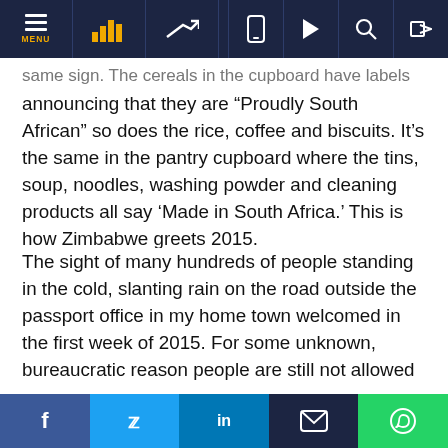Navigation bar with MENU, chart icons, and action icons
same sign. The cereals in the cupboard have labels announcing that they are “Proudly South African” so does the rice, coffee and biscuits. It’s the same in the pantry cupboard where the tins, soup, noodles, washing powder and cleaning products all say ‘Made in South Africa.’ This is how Zimbabwe greets 2015.
The sight of many hundreds of people standing in the cold, slanting rain on the road outside the passport office in my home town welcomed in the first week of 2015. For some unknown, bureaucratic reason people are still not allowed to queue inside the building, instead they must line up outside the gates exposed to all weathers, treated like livestock at a sale pen.
In the same week as the monster passport queues the
f  y  in  ✉  ⓕ (social share buttons)